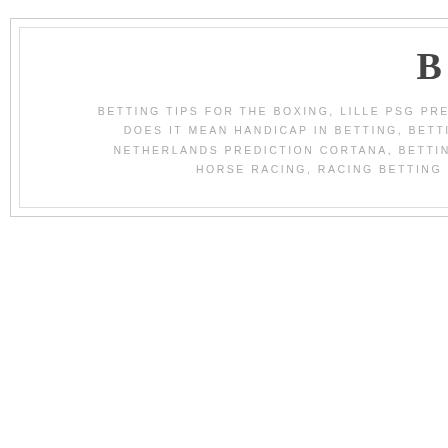BETTIN
BETTING TIPS FOR THE BOXING, LILLE PSG PREDICTIONS, DOES IT MEAN HANDICAP IN BETTING, BETTING ITF T NETHERLANDS PREDICTION CORTANA, BETTING TIPS NF HORSE RACING, RACING BETTING